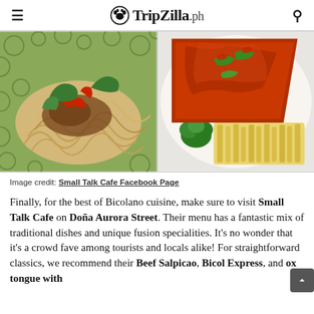TripZilla.ph
[Figure (photo): Two food photos side by side: left shows noodle dish with green peppers and red chili on a green patterned plate; right shows meat dish with red sauce, green chili, garnished with parsley and french fries on a white plate]
Image credit: Small Talk Cafe Facebook Page
Finally, for the best of Bicolano cuisine, make sure to visit Small Talk Cafe on Doña Aurora Street. Their menu has a fantastic mix of traditional dishes and unique fusion specialities. It's no wonder that it's a crowd fave among tourists and locals alike! For straightforward classics, we recommend their Beef Salpicao, Bicol Express, and ox tongue with